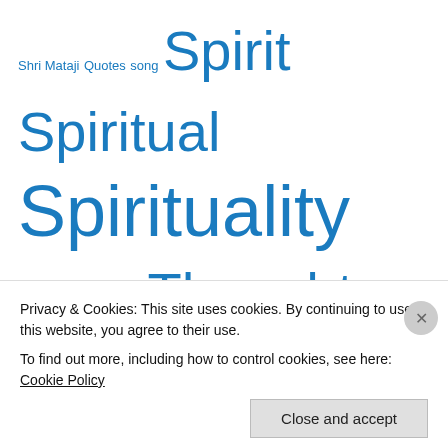Shri Mataji Quotes song Spirit Spiritual Spirituality Sushumna nadi Thoughts Truth Upanishad Video wisdom YOGA yoga video
Recent Comments
Peter on Eloah: Goddess of the Bible…
amitiel10 on Eloah: Goddess of the Bible…
Privacy & Cookies: This site uses cookies. By continuing to use this website, you agree to their use.
To find out more, including how to control cookies, see here: Cookie Policy
Close and accept